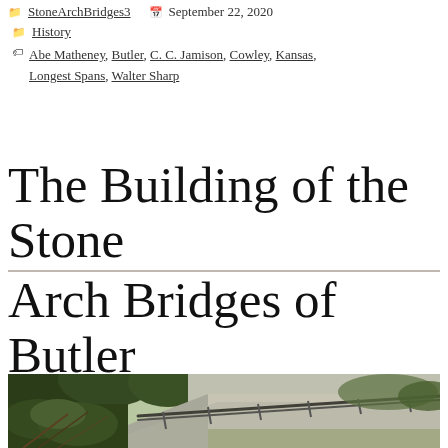StoneArchBridges3   September 22, 2020
History
Abe Matheney, Butler, C. C. Jamison, Cowley, Kansas, Longest Spans, Walter Sharp
The Building of the Stone Arch Bridges of Butler County, Kansas — Part 1
[Figure (photo): Outdoor photograph showing a rural road or path with a metal guardrail on the right side, lush green vegetation and trees on the left and background, taken from ground level looking along the road surface.]